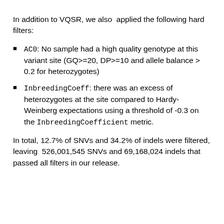In addition to VQSR, we also applied the following hard filters:
AC0: No sample had a high quality genotype at this variant site (GQ>=20, DP>=10 and allele balance > 0.2 for heterozygotes)
InbreedingCoeff: there was an excess of heterozygotes at the site compared to Hardy-Weinberg expectations using a threshold of -0.3 on the InbreedingCoefficient metric.
In total, 12.7% of SNVs and 34.2% of indels were filtered, leaving 526,001,545 SNVs and 69,168,024 indels that passed all filters in our release.